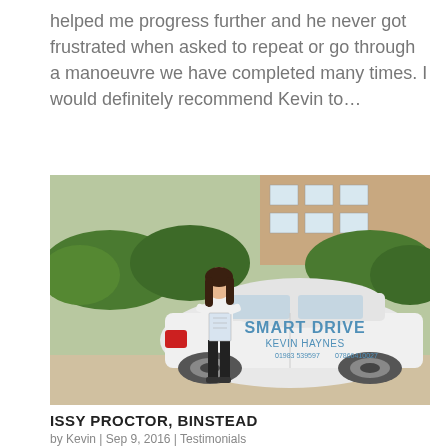helped me progress further and he never got frustrated when asked to repeat or go through a manoeuvre we have completed many times. I would definitely recommend Kevin to…
[Figure (photo): A young woman standing in front of a white Ford Fiesta with 'Smart Drive Kevin Haynes' branding, holding a certificate, outside a house with green hedges.]
ISSY PROCTOR, BINSTEAD
by Kevin | Sep 9, 2016 | Testimonials